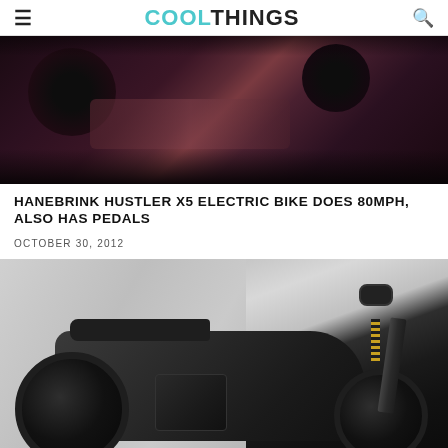COOLTHINGS
[Figure (photo): Dark close-up photo of motorcycle parts, showing circular dark elements against a dark reddish-brown background]
HANEBRINK HUSTLER X5 ELECTRIC BIKE DOES 80MPH, ALSO HAS PEDALS
OCTOBER 30, 2012
[Figure (photo): Side-view photo of the Hanebrink Hustler X5 electric motorcycle with matte black finish against a gray background, showing muscular cafe-racer style design with yellow suspension spring]